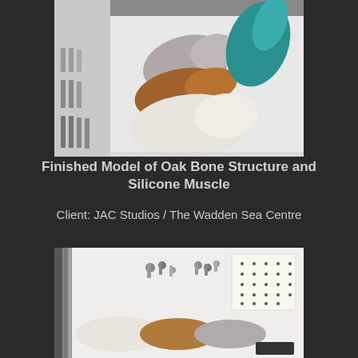[Figure (photo): Finished model parts laid on a white table: gray/silver bullet-shaped silicone muscle piece, brown oak bone structure, translucent white silicone muscle piece, teal/green translucent piece, and metal bolts/screws on the left side.]
Finished Model of Oak Bone Structure and Silicone Muscle

Client: JAC Studios / The Wadden Sea Centre
[Figure (photo): Disassembled parts laid on a white table: top row shows metal bolts, screws, and small fittings, along with a white pegboard/tile with holes. Bottom row shows flat oval/elongated pieces in white/cream, wood/oak, and gray/silver, plus a small black piece.]